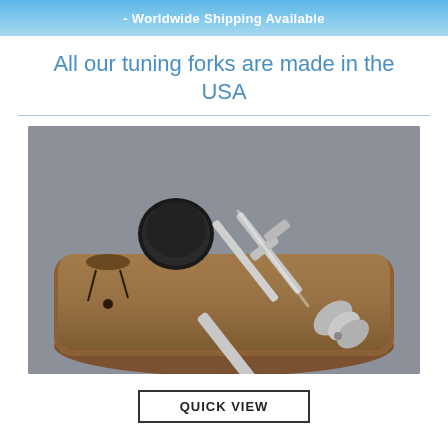- Worldwide Shipping Available
All our tuning forks are made in the USA
[Figure (photo): A silver tuning fork with weighted ends resting on a brown velvet drawstring pouch, with a black rubber activator disk behind it, on a gray background.]
QUICK VIEW